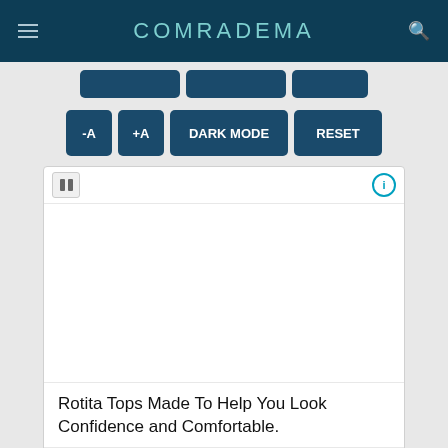COMRADEMA
[Figure (screenshot): Navigation tab buttons row (partially visible, dark blue)]
[Figure (screenshot): Control buttons row: -A, +A, DARK MODE, RESET]
[Figure (screenshot): Advertisement box: Rotita Tops Made To Help You Look Confidence and Comfortable. Rotita Tops | Open]
Star Ring Mission Chapter 223